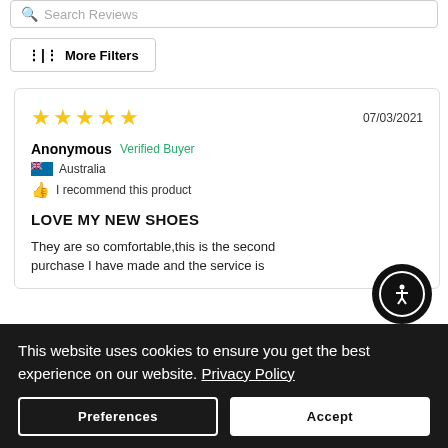Search Reviews
More Filters
07/03/2021
Anonymous  Verified Buyer
Australia
I recommend this product
LOVE MY NEW SHOES
They are so comfortable,this is the second purchase I have made and the service is
This website uses cookies to ensure you get the best experience on our website. Privacy Policy
Preferences
Accept